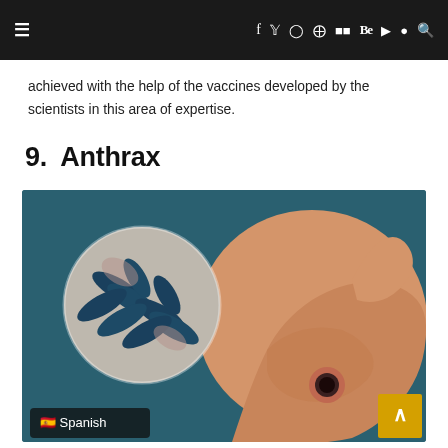≡  f  𝕏  ☷  𝗣  ☰  Be  ▶  ◉  🔍
achieved with the help of the vaccines developed by the scientists in this area of expertise.
9.  Anthrax
[Figure (photo): Medical illustration showing anthrax bacteria under microscope (circular inset, teal/blue rod-shaped bacteria on pink background) alongside an image of a human hand with an anthrax skin lesion (black eschar) on the back of the hand, on a dark teal background.]
Spanish